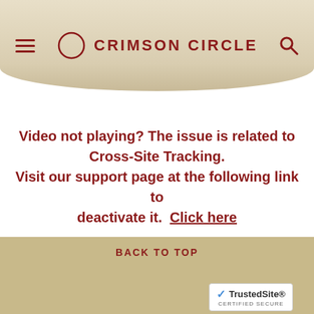CRIMSON CIRCLE
Video not playing? The issue is related to Cross-Site Tracking. Visit our support page at the following link to deactivate it. Click here
BACK TO TOP — TrustedSite CERTIFIED SECURE